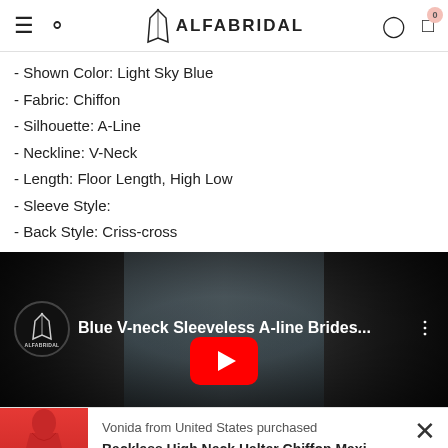ALFABRIDAL navigation bar with hamburger menu, search, logo, user account, and cart (0)
- Shown Color: Light Sky Blue
- Fabric: Chiffon
- Silhouette: A-Line
- Neckline: V-Neck
- Length: Floor Length, High Low
- Sleeve Style:
- Back Style: Criss-cross
[Figure (screenshot): YouTube video thumbnail showing a model wearing a light blue A-line bridesmaid dress. Video title: 'Blue V-neck Sleeveless A-line Brides...' with ALFABRIDAL channel logo on left and three-dot menu on right. YouTube play button visible at bottom center.]
Vonida from United States purchased
Backless High Neck Halter Chiffon Maxi Dresses...
2 days ago